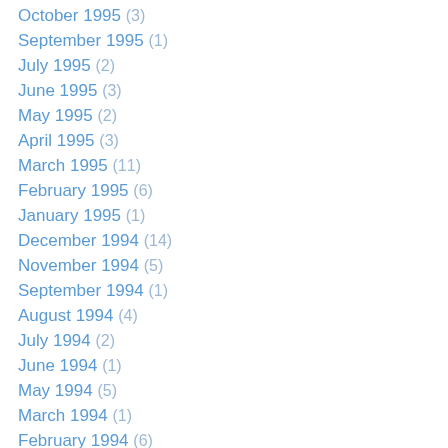October 1995 (3)
September 1995 (1)
July 1995 (2)
June 1995 (3)
May 1995 (2)
April 1995 (3)
March 1995 (11)
February 1995 (6)
January 1995 (1)
December 1994 (14)
November 1994 (5)
September 1994 (1)
August 1994 (4)
July 1994 (2)
June 1994 (1)
May 1994 (5)
March 1994 (1)
February 1994 (6)
January 1994 (5)
December 1993 (7)